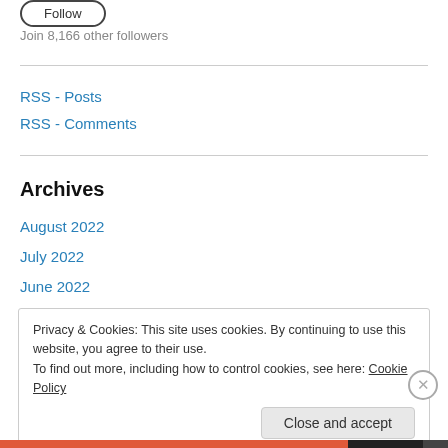[Figure (other): Follow button (rounded rectangle outline)]
Join 8,166 other followers
RSS - Posts
RSS - Comments
Archives
August 2022
July 2022
June 2022
Privacy & Cookies: This site uses cookies. By continuing to use this website, you agree to their use.
To find out more, including how to control cookies, see here: Cookie Policy
Close and accept